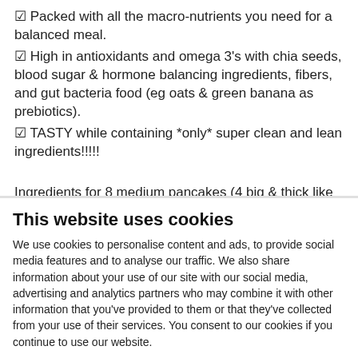✓ Packed with all the macro-nutrients you need for a balanced meal.
✓ High in antioxidants and omega 3's with chia seeds, blood sugar & hormone balancing ingredients, fibers, and gut bacteria food (eg oats & green banana as prebiotics).
✓ TASTY while containing *only* super clean and lean ingredients!!!!!
Ingredients for 8 medium pancakes (4 big & thick like on the
This website uses cookies
We use cookies to personalise content and ads, to provide social media features and to analyse our traffic. We also share information about your use of our site with our social media, advertising and analytics partners who may combine it with other information that you've provided to them or that they've collected from your use of their services. You consent to our cookies if you continue to use our website.
OK
Necessary  Preferences  Statistics  Show details
Marketing